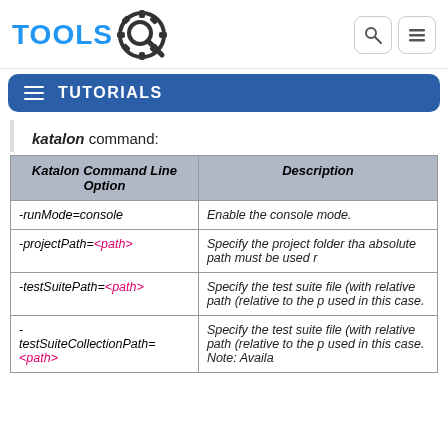TOOLS [logo] | search | menu
TUTORIALS
katalon command:
| Katalon Command Line Option | Description |
| --- | --- |
| -runMode=console | Enable the console mode. |
| -projectPath=<path> | Specify the project folder tha absolute path must be used r |
| -testSuitePath=<path> | Specify the test suite file (with relative path (relative to the p used in this case. |
| -testSuiteCollectionPath=<path> | Specify the test suite file (with relative path (relative to the p used in this case. Note: Availa |